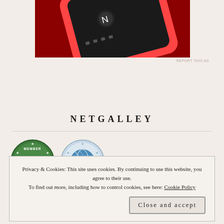[Figure (photo): Partial view of a red smartphone against a red background, showing the screen with media controls]
REPORT THIS AD
NETGALLEY
[Figure (logo): NetGalley Member badge - circular green badge with a dolphin and stars]
[Figure (logo): NetGalley circular badge - blue globe-like badge with stars]
Privacy & Cookies: This site uses cookies. By continuing to use this website, you agree to their use.
To find out more, including how to control cookies, see here: Cookie Policy
Close and accept